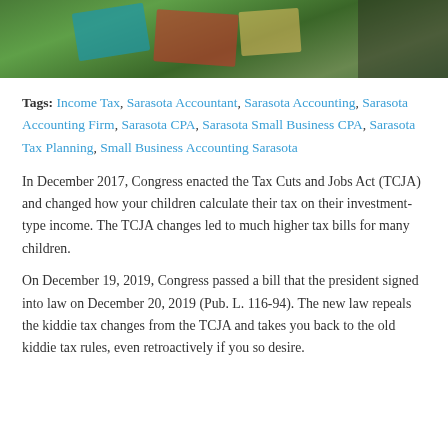[Figure (photo): Partial photo showing grass with colorful papers or folders laid out on it, with a person partially visible]
Tags: Income Tax, Sarasota Accountant, Sarasota Accounting, Sarasota Accounting Firm, Sarasota CPA, Sarasota Small Business CPA, Sarasota Tax Planning, Small Business Accounting Sarasota
In December 2017, Congress enacted the Tax Cuts and Jobs Act (TCJA) and changed how your children calculate their tax on their investment-type income. The TCJA changes led to much higher tax bills for many children.
On December 19, 2019, Congress passed a bill that the president signed into law on December 20, 2019 (Pub. L. 116-94). The new law repeals the kiddie tax changes from the TCJA and takes you back to the old kiddie tax rules, even retroactively if you so desire.